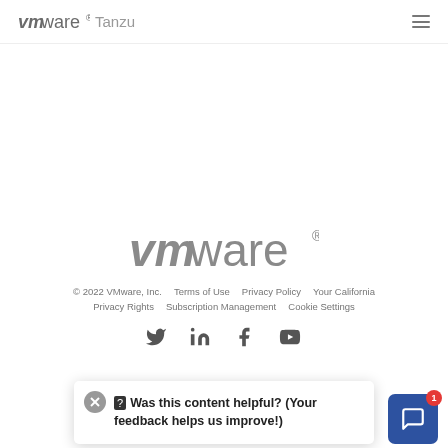vmware Tanzu
[Figure (logo): VMware logo large centered in footer area]
© 2022 VMware, Inc.   Terms of Use   Privacy Policy   Your California Privacy Rights   Subscription Management   Cookie Settings
[Figure (illustration): Social media icons row: Twitter, LinkedIn, Facebook, YouTube]
Was this content helpful? (Your feedback helps us improve!)